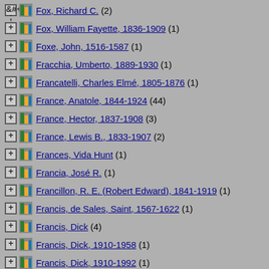Fox, Richard C. (2)
Fox, William Fayette, 1836-1909 (1)
Foxe, John, 1516-1587 (1)
Fracchia, Umberto, 1889-1930 (1)
Francatelli, Charles Elmé, 1805-1876 (1)
France, Anatole, 1844-1924 (44)
France, Hector, 1837-1908 (3)
France, Lewis B., 1833-1907 (2)
Frances, Vida Hunt (1)
Francia, José R. (1)
Francillon, R. E. (Robert Edward), 1841-1919 (1)
Francis, de Sales, Saint, 1567-1622 (1)
Francis, Dick (4)
Francis, Dick, 1910-1958 (1)
Francis, Dick, 1910-1992 (1)
Francis, Dick, 1914-2004 (2)
Francis, Dick, 1915-1989 (1)